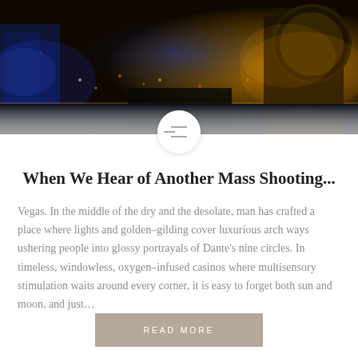[Figure (photo): Aerial night view of Las Vegas Strip with illuminated buildings, neon lights in blue, orange and gold tones]
When We Hear of Another Mass Shooting...
Vegas. In the middle of the dry and the desolate, man has crafted a place where lights and golden-gilding cover luxurious arch ways ushering people into glossy portrayals of Dante's nine circles. In timeless, windowless, oxygen-infused casinos where multisensory stimulation waits around every corner, it is easy to forget both sun and moon, and just...
READ MORE